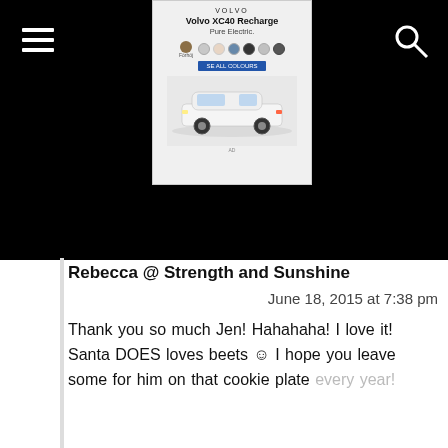[Figure (screenshot): Black navigation bar with hamburger menu icon on the left and search icon on the right]
[Figure (photo): Volvo XC40 Recharge Pure Electric advertisement showing a white SUV with color swatches]
Rebecca @ Strength and Sunshine
June 18, 2015 at 7:38 pm
Thank you so much Jen! Hahahaha! I love it! Santa DOES loves beets ☺ I hope you leave some for him on that cookie plate every year!